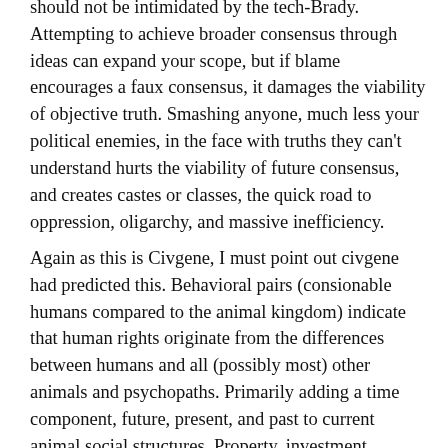should not be intimidated by the tech-Brady. Attempting to achieve broader consensus through ideas can expand your scope, but if blame encourages a faux consensus, it damages the viability of objective truth. Smashing anyone, much less your political enemies, in the face with truths they can't understand hurts the viability of future consensus, and creates castes or classes, the quick road to oppression, oligarchy, and massive inefficiency.
Again as this is Civgene, I must point out civgene had predicted this. Behavioral pairs (consionable humans compared to the animal kingdom) indicate that human rights originate from the differences between humans and all (possibly most) other animals and psychopaths. Primarily adding a time component, future, present, and past to current animal social structures. Property, investment, freedom, friendship, currency and their derivatives, money, markets, specialization, and economy of scale all indicate a right to fork. Allowing hierarchies, like oligarchy and to always restate force, with the a right to elect, or both the